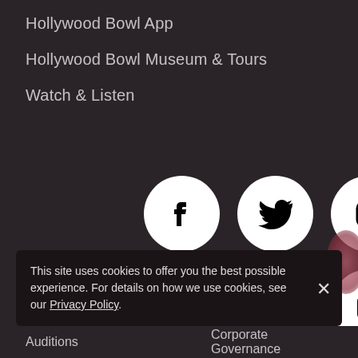Hollywood Bowl App
Hollywood Bowl Museum & Tours
Watch & Listen
[Figure (infographic): Six social media icons in white circles on dark background, arranged in 2 rows of 3: Facebook, Twitter, Instagram (top row); YouTube, Spotify, Apple Music (bottom row)]
Board Members
Our Staff
This site uses cookies to offer you the best possible experience. For details on how we use cookies, see our Privacy Policy.
Auditions
Corporate Governance